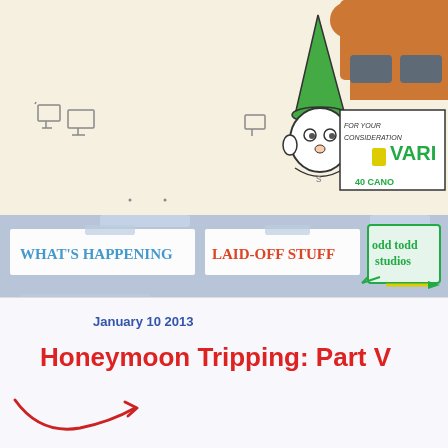[Figure (illustration): Top banner with hand-drawn cartoon illustrations: left side shows simple line drawings of computer/desk icons on cream background; center shows a cartoon elf/gnome character with green pointed hat; right side shows a cartoon bear/animal character reading a document labeled 'FOR YOUR CONSIDERATION' with 'VARIETY' text visible in green]
[Figure (illustration): Navigation bar with three tabs: 'WHAT'S HAPPENING' in blue handwritten style, 'LAID-OFF STUFF' in red handwritten style, 'odd todd studios' in green handwritten style with decorative arrows and underline. Gray/blue background with tape strip decorations.]
January 10 2013
Honeymoon Tripping: Part V
[Figure (illustration): Hand-drawn red curved arrow/swirl decoration in bottom left area]